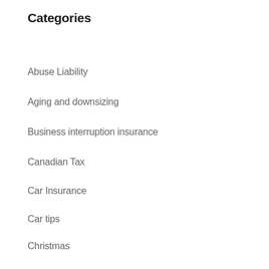Categories
Abuse Liability
Aging and downsizing
Business interruption insurance
Canadian Tax
Car Insurance
Car tips
Christmas
Commercial Insurance
Contractors
Dental office protection